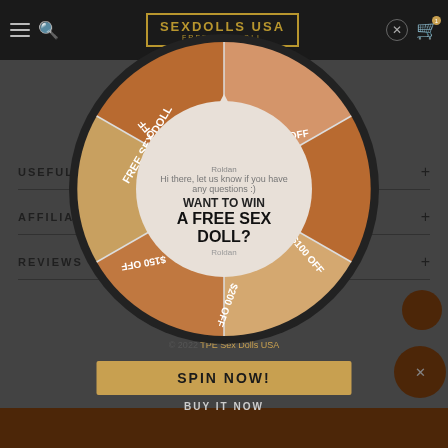[Figure (screenshot): Website navigation bar with hamburger menu, search icon, SEXDOLLS USA logo in gold border, close button and cart icon on dark background]
USEFUL LINKS +
AFFILIATES +
REVIEWS +
[Figure (infographic): Spin-the-wheel promotional popup with segments labeled: FREE SEX DOLL, $250 OFF, $100 OFF, $200 OFF, $150 OFF, $100 OFF. Center shows text WANT TO WIN A FREE SEX DOLL?]
WANT TO WIN A FREE SEX DOLL?
© 2022 TPE Sex Dolls USA
SPIN NOW!
BUY IT NOW